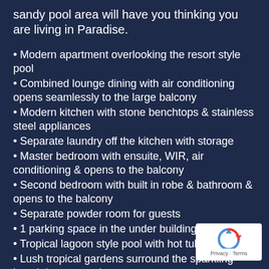sandy pool area will have you thinking you are living in Paradise.
Modern apartment overlooking the resort style pool
Combined lounge dining with air conditioning opens seamlessly to the large balcony
Modern kitchen with stone benchtops & stainless steel appliances
Separate laundry off the kitchen with storage
Master bedroom with ensuite, WIR, air conditioning & opens to the balcony
Second bedroom with built in robe & bathroom & opens to the balcony
Separate powder room for guests
1 parking space in the under building parking
Tropical lagoon style pool with hot tub
Lush tropical gardens surround the sparkling beach lagoon pool
Gymnasium, sauna and steam room
[Figure (logo): reCAPTCHA badge with Privacy and Terms links]